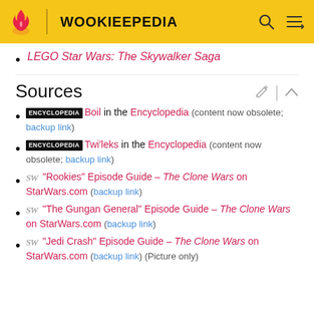WOOKIEEPEDIA
LEGO Star Wars: The Skywalker Saga
Sources
ENCYCLOPEDIA Boil in the Encyclopedia (content now obsolete; backup link)
ENCYCLOPEDIA Twi'leks in the Encyclopedia (content now obsolete; backup link)
SW "Rookies" Episode Guide – The Clone Wars on StarWars.com (backup link)
SW "The Gungan General" Episode Guide – The Clone Wars on StarWars.com (backup link)
SW "Jedi Crash" Episode Guide – The Clone Wars on StarWars.com (backup link) (Picture only)